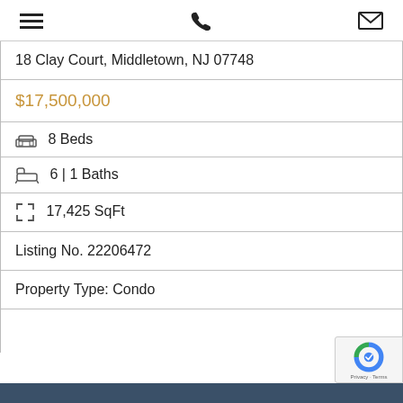☰  📞  ✉
18 Clay Court, Middletown, NJ 07748
$17,500,000
🛏 8 Beds
🛁 6 | 1 Baths
⤢ 17,425 SqFt
Listing No. 22206472
Property Type: Condo